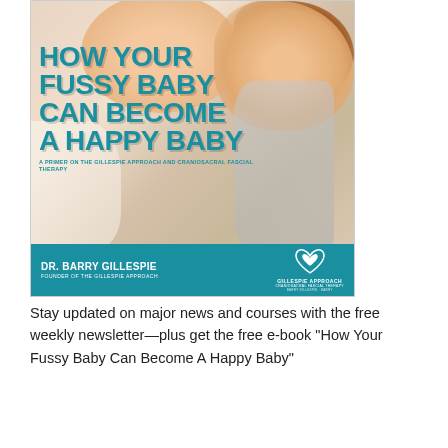[Figure (illustration): Book cover: 'How Your Fussy Baby Can Become A Happy Baby' - A Primer on the Gillespie Approach and Craniosacral Fascial Therapy, by Dr. Barry Gillespie, Founder of the Gillespie Approach. Teal title text on photo background of smiling baby and mother. Teal bar at bottom with author name and Gillespie Approach logo.]
Stay updated on major news and courses with the free weekly newsletter—plus get the free e-book "How Your Fussy Baby Can Become A Happy Baby"